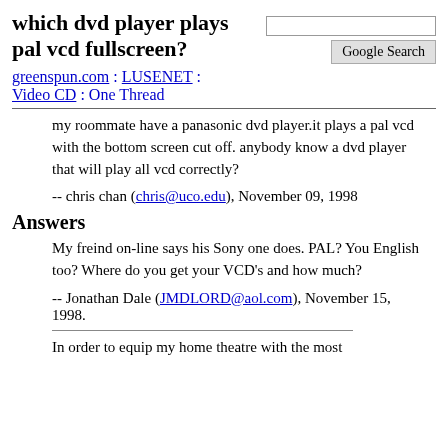which dvd player plays pal vcd fullscreen?
greenspun.com : LUSENET : Video CD : One Thread
my roommate have a panasonic dvd player.it plays a pal vcd with the bottom screen cut off. anybody know a dvd player that will play all vcd correctly?
-- chris chan (chris@uco.edu), November 09, 1998
Answers
My freind on-line says his Sony one does. PAL? You English too? Where do you get your VCD's and how much?
-- Jonathan Dale (JMDLORD@aol.com), November 15, 1998.
In order to equip my home theatre with the most